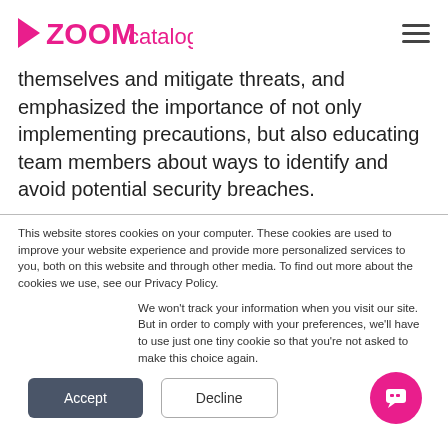ZOOMcatalog
themselves and mitigate threats, and emphasized the importance of not only implementing precautions, but also educating team members about ways to identify and avoid potential security breaches.
This website stores cookies on your computer. These cookies are used to improve your website experience and provide more personalized services to you, both on this website and through other media. To find out more about the cookies we use, see our Privacy Policy.
We won't track your information when you visit our site. But in order to comply with your preferences, we'll have to use just one tiny cookie so that you're not asked to make this choice again.